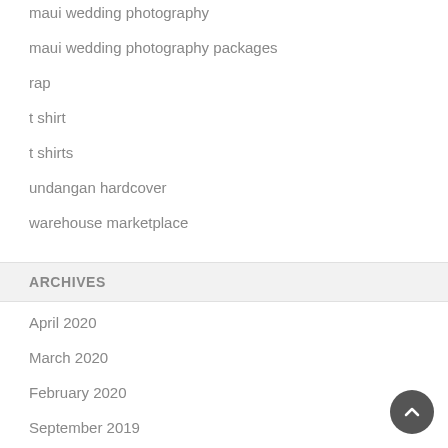maui wedding photography
maui wedding photography packages
rap
t shirt
t shirts
undangan hardcover
warehouse marketplace
ARCHIVES
April 2020
March 2020
February 2020
September 2019